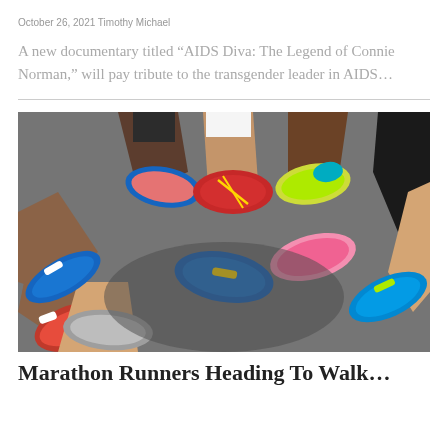October 26, 2021 Timothy Michael
A new documentary titled “AIDS Diva: The Legend of Connie Norman,” will pay tribute to the transgender leader in AIDS…
[Figure (photo): Overhead view of a group of runners in a circle with their feet pointing inward, wearing colorful running shoes on a gray floor]
Marathon Runners Heading To Walk...